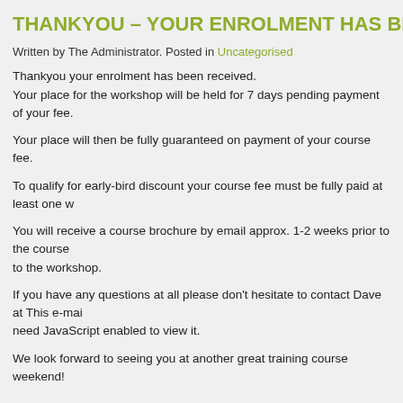THANKYOU – YOUR ENROLMENT HAS BEEN RECE
Written by The Administrator. Posted in Uncategorised
Thankyou your enrolment has been received.
Your place for the workshop will be held for 7 days pending payment of your fee.
Your place will then be fully guaranteed on payment of your course fee.
To qualify for early-bird discount your course fee must be fully paid at least one w
You will receive a course brochure by email approx. 1-2 weeks prior to the course to the workshop.
If you have any questions at all please don't hesitate to contact Dave at This e-mai need JavaScript enabled to view it.
We look forward to seeing you at another great training course weekend!
Dave & the Team @

Strawtegic Concepts